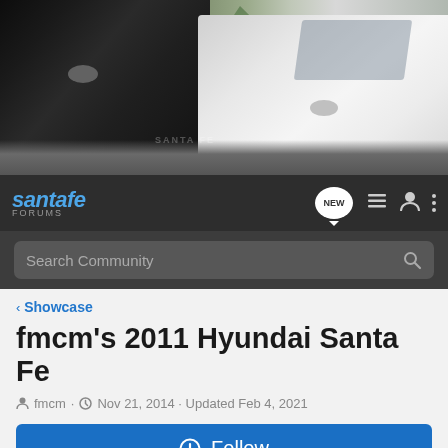[Figure (photo): Hero banner image showing two Hyundai Santa Fe SUVs — a dark grey one on the left and a white one on the right, against a mountainous backdrop.]
santafe FORUMS
Search Community
< Showcase
fmcm's 2011 Hyundai Santa Fe
fmcm · Nov 21, 2014 · Updated Feb 4, 2021
+ Follow
General Information